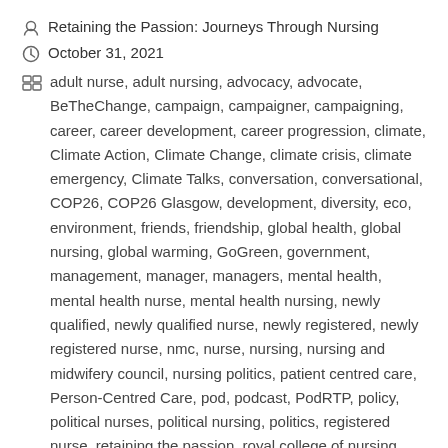Retaining the Passion: Journeys Through Nursing
October 31, 2021
adult nurse, adult nursing, advocacy, advocate, BeTheChange, campaign, campaigner, campaigning, career, career development, career progression, climate, Climate Action, Climate Change, climate crisis, climate emergency, Climate Talks, conversation, conversational, COP26, COP26 Glasgow, development, diversity, eco, environment, friends, friendship, global health, global nursing, global warming, GoGreen, government, management, manager, managers, mental health, mental health nurse, mental health nursing, newly qualified, newly qualified nurse, newly registered, newly registered nurse, nmc, nurse, nursing, nursing and midwifery council, nursing politics, patient centred care, Person-Centred Care, pod, podcast, PodRTP, policy, political nurses, political nursing, politics, registered nurse, retaining the passion, royal college of nursing